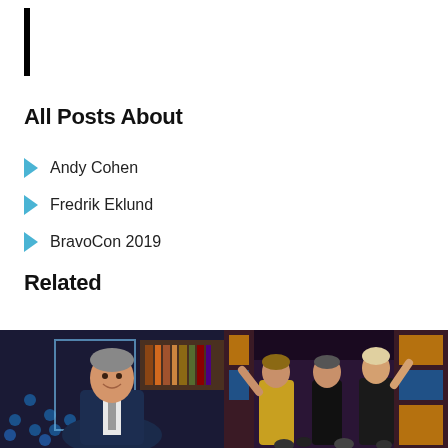All Posts About
Andy Cohen
Fredrik Eklund
BravoCon 2019
Related
[Figure (photo): Man in dark suit smiling, seated in what appears to be a TV studio set with colorful dot-pattern background]
[Figure (photo): Three people on a stage — two women and one man — in formal attire, appearing to be at a live event or TV show taping]